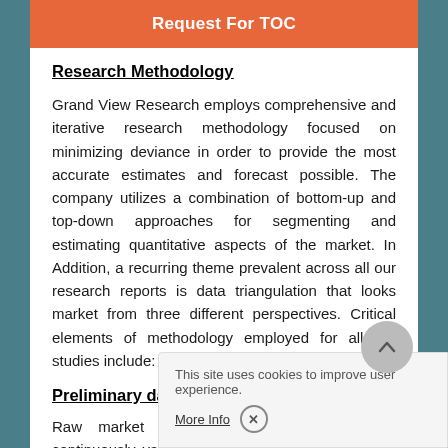Request For TOC
Research Methodology
Grand View Research employs comprehensive and iterative research methodology focused on minimizing deviance in order to provide the most accurate estimates and forecast possible. The company utilizes a combination of bottom-up and top-down approaches for segmenting and estimating quantitative aspects of the market. In Addition, a recurring theme prevalent across all our research reports is data triangulation that looks market from three different perspectives. Critical elements of methodology employed for all our studies include:
Preliminary data mining
Raw market data is obtained from on the front. Data is continuously validated and authenticated. In addition, data is also mined from a host of reports in our